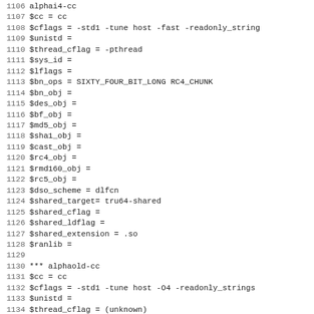1106  alphai4-cc (partial, cut off at top)
1107 $cc           = cc
1108 $cflags        = -std1 -tune host -fast -readonly_string
1109 $unistd        =
1110 $thread_cflag = -pthread
1111 $sys_id         =
1112 $lflags         =
1113 $bn_ops         = SIXTY_FOUR_BIT_LONG RC4_CHUNK
1114 $bn_obj         =
1115 $des_obj        =
1116 $bf_obj         =
1117 $md5_obj        =
1118 $sha1_obj       =
1119 $cast_obj       =
1120 $rc4_obj        =
1121 $rmd160_obj     =
1122 $rc5_obj        =
1123 $dso_scheme     = dlfcn
1124 $shared_target= tru64-shared
1125 $shared_cflag =
1126 $shared_ldflag =
1127 $shared_extension = .so
1128 $ranlib         =
1129
1130 *** alphaold-cc
1131 $cc             = cc
1132 $cflags         = -std1 -tune host -O4 -readonly_strings
1133 $unistd         =
1134 $thread_cflag = (unknown)
1135 $sys_id         =
1136 $lflags         =
1137 $bn_ops         = SIXTY_FOUR_BIT_LONG RC4_CHUNK
1138 $bn_obj         =